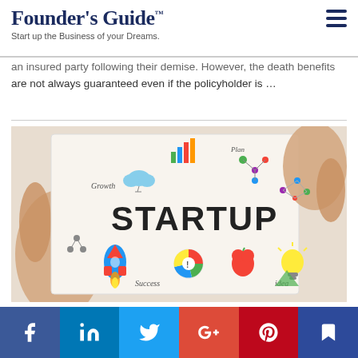Founder's Guide™
Start up the Business of your Dreams.
an insured party following their demise. However, the death benefits are not always guaranteed even if the policyholder is …
[Figure (photo): Hands holding a white paper/notebook with colorful startup doodles and icons including the word STARTUP in large letters, rockets, lightbulbs, bar charts, clouds, and labels reading Growth, Success, Idea, Plan]
[Figure (infographic): Social media share bar with icons for Facebook, LinkedIn, Twitter, Google+, Pinterest, and an email/bookmark icon on colored backgrounds]